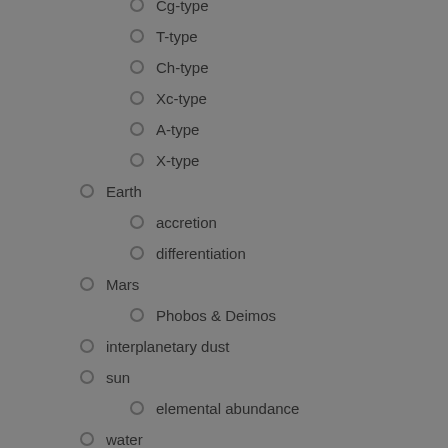Cg-type
T-type
Ch-type
Xc-type
A-type
X-type
Earth
accretion
differentiation
Mars
Phobos & Deimos
interplanetary dust
sun
elemental abundance
water
Late Heavy Bombardment (LHB)
Moon
Vesta